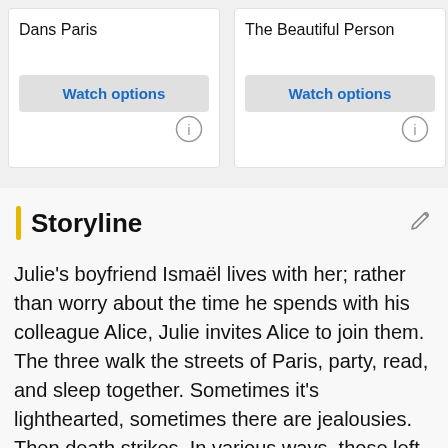Dans Paris
Watch options
The Beautiful Person
Watch options
Les
Storyline
Julie's boyfriend Ismaël lives with her; rather than worry about the time he spends with his colleague Alice, Julie invites Alice to join them. The three walk the streets of Paris, party, read, and sleep together. Sometimes it's lighthearted, sometimes there are jealousies. Then death strikes. In various ways, those left come to terms with the departure and absence of a